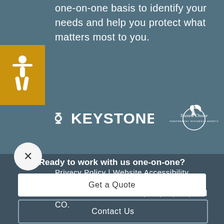one-on-one basis to identify your needs and help you protect what matters most to you.
[Figure (logo): Keystone Insurance logo (white text with W mark) and Trusted Choice Independent Insurance Agents logo (white text with bird/wing graphic)]
Privacy Policy | Website Accessibility
We are licensed in: MO, AR, IA, KS, and CO.
Ready to work with us one-on-one?
Get a Quote
Contact Us